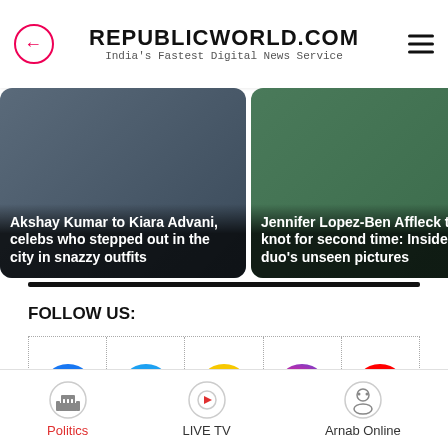REPUBLICWORLD.COM — India's Fastest Digital News Service
[Figure (screenshot): News card: Akshay Kumar to Kiara Advani, celebs who stepped out in the city in snazzy outfits]
[Figure (screenshot): News card: Jennifer Lopez-Ben Affleck tie the knot for second time: Inside duo's unseen pictures]
[Figure (screenshot): News card: Partially visible third article]
FOLLOW US:
[Figure (infographic): Social media icons row: Facebook, Twitter, Koo, Instagram, YouTube]
Politics | LIVE TV | Arnab Online